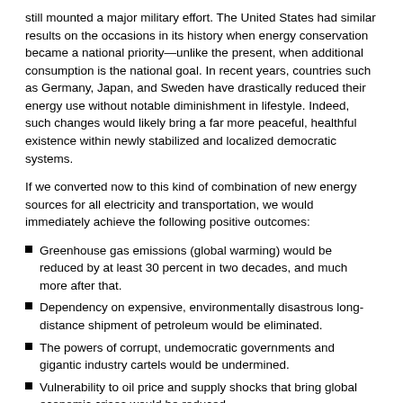still mounted a major military effort. The United States had similar results on the occasions in its history when energy conservation became a national priority—unlike the present, when additional consumption is the national goal. In recent years, countries such as Germany, Japan, and Sweden have drastically reduced their energy use without notable diminishment in lifestyle. Indeed, such changes would likely bring a far more peaceful, healthful existence within newly stabilized and localized democratic systems.
If we converted now to this kind of combination of new energy sources for all electricity and transportation, we would immediately achieve the following positive outcomes:
Greenhouse gas emissions (global warming) would be reduced by at least 30 percent in two decades, and much more after that.
Dependency on expensive, environmentally disastrous long-distance shipment of petroleum would be eliminated.
The powers of corrupt, undemocratic governments and gigantic industry cartels would be undermined.
Vulnerability to oil price and supply shocks that bring global economic crises would be reduced.
Military expenditures for the protection of oil-producing nations and the supply lines that connect them to their customers would be reduced.
Nourishing and the international... [continues]